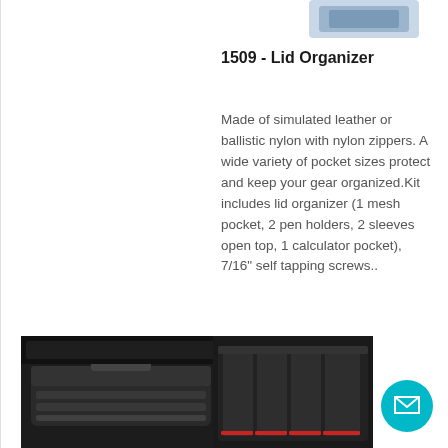[Figure (photo): Partial view of a product (lid organizer) in the top right area, partially cropped]
1509 - Lid Organizer
Made of simulated leather or ballistic nylon with nylon zippers. A wide variety of pocket sizes protect and keep your gear organized.Kit includes lid organizer (1 mesh pocket, 2 pen holders, 2 sleeves open top, 1 calculator pocket), 7/16" self tapping screws..
[Figure (photo): Black hard case product shown at the bottom left of the page]
[Figure (photo): Black organizer/case with red interior dividers shown at the bottom right]